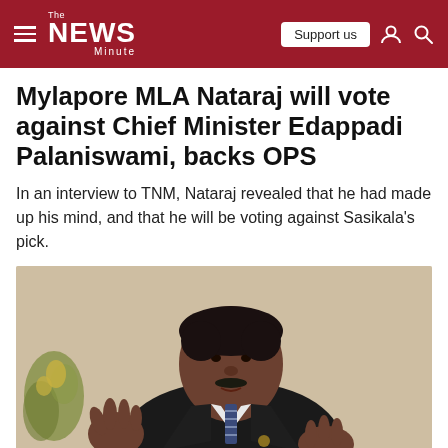The News Minute
Mylapore MLA Nataraj will vote against Chief Minister Edappadi Palaniswami, backs OPS
In an interview to TNM, Nataraj revealed that he had made up his mind, and that he will be voting against Sasikala's pick.
[Figure (photo): A middle-aged Indian man in a dark suit and striped tie, gesturing with both hands while speaking, photographed against a light textured beige wall with some flowers visible on the left.]